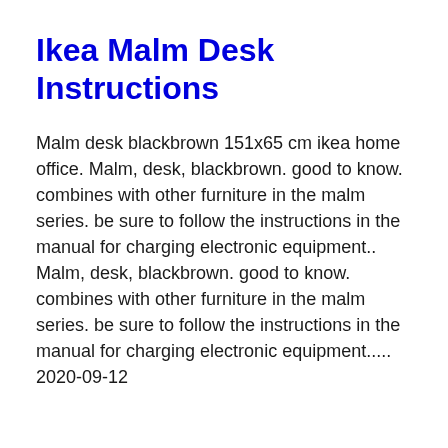Ikea Malm Desk Instructions
Malm desk blackbrown 151x65 cm ikea home office. Malm, desk, blackbrown. good to know. combines with other furniture in the malm series. be sure to follow the instructions in the manual for charging electronic equipment.. Malm, desk, blackbrown. good to know. combines with other furniture in the malm series. be sure to follow the instructions in the manual for charging electronic equipment.....
2020-09-12